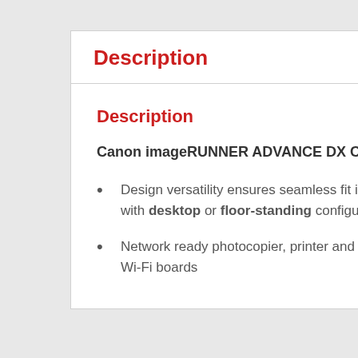Description
Description
Canon imageRUNNER ADVANCE DX C257/C357 A4 MFD
Design versatility ensures seamless fit into any office size or layout, with desktop or floor-standing configuration
Network ready photocopier, printer and scanner with both ethernet and Wi-Fi boards